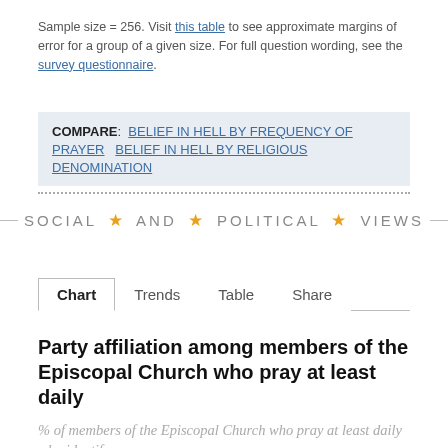Sample size = 256. Visit this table to see approximate margins of error for a group of a given size. For full question wording, see the survey questionnaire.
COMPARE: BELIEF IN HELL BY FREQUENCY OF PRAYER   BELIEF IN HELL BY RELIGIOUS DENOMINATION
SOCIAL ★ AND ★ POLITICAL ★ VIEWS
Chart   Trends   Table   Share
Party affiliation among members of the Episcopal Church who pray at least daily
% of members of the Episcopal Church who pray at least daily who identify as...